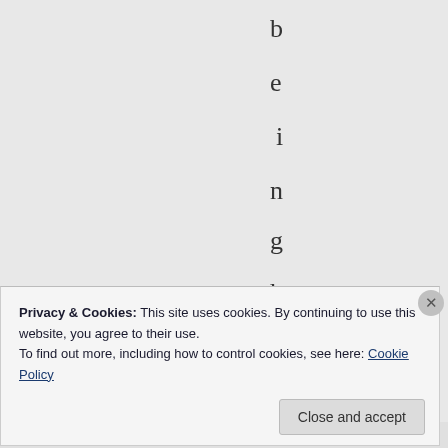[Figure (other): Vertical text spelling 'beingheldca' (partial word, one letter per line) displayed on a grey background, centered-right on the page]
Privacy & Cookies: This site uses cookies. By continuing to use this website, you agree to their use.
To find out more, including how to control cookies, see here: Cookie Policy
Close and accept